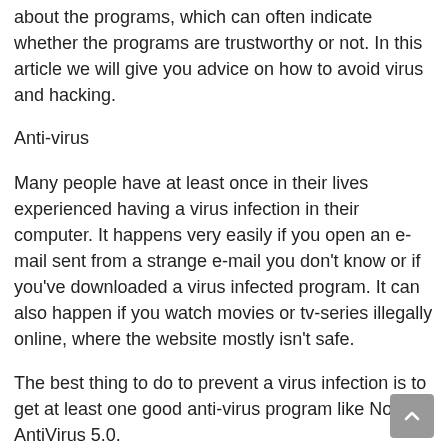about the programs, which can often indicate whether the programs are trustworthy or not. In this article we will give you advice on how to avoid virus and hacking.
Anti-virus
Many people have at least once in their lives experienced having a virus infection in their computer. It happens very easily if you open an e-mail sent from a strange e-mail you don't know or if you've downloaded a virus infected program. It can also happen if you watch movies or tv-series illegally online, where the website mostly isn't safe.
The best thing to do to prevent a virus infection is to get at least one good anti-virus program like Norton AntiVirus 5.0.
Anti-spyware